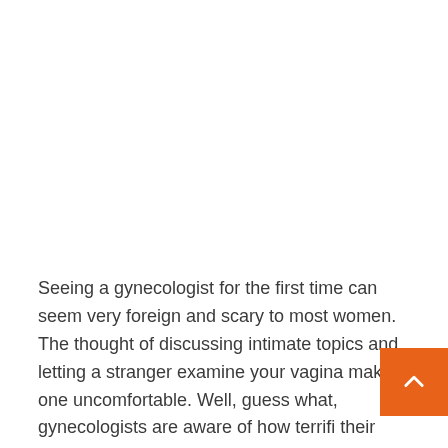Seeing a gynecologist for the first time can seem very foreign and scary to most women. The thought of discussing intimate topics and letting a stranger examine your vagina makes one uncomfortable. Well, guess what, gynecologists are aware of how terrifi their patients can be, so they do their best to get ri that uneasy feeling. So if you're thinking of starting your reproductive health journey, the Arlington OBGYN